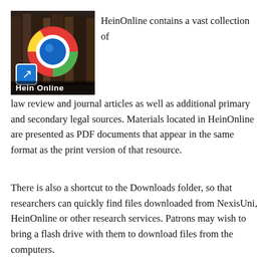[Figure (screenshot): HeinOnline application icon showing Google Chrome logo over a bookshelf background, with label 'Hein Online' at the bottom]
HeinOnline contains a vast collection of law review and journal articles as well as additional primary and secondary legal sources. Materials located in HeinOnline are presented as PDF documents that appear in the same format as the print version of that resource.
There is also a shortcut to the Downloads folder, so that researchers can quickly find files downloaded from NexisUni, HeinOnline or other research services. Patrons may wish to bring a flash drive with them to download files from the computers.